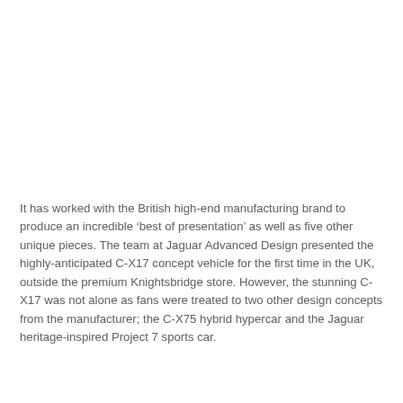It has worked with the British high-end manufacturing brand to produce an incredible ‘best of presentation’ as well as five other unique pieces. The team at Jaguar Advanced Design presented the highly-anticipated C-X17 concept vehicle for the first time in the UK, outside the premium Knightsbridge store. However, the stunning C-X17 was not alone as fans were treated to two other design concepts from the manufacturer; the C-X75 hybrid hypercar and the Jaguar heritage-inspired Project 7 sports car.